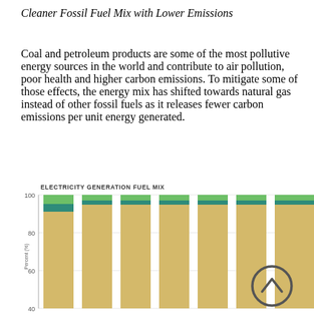Cleaner Fossil Fuel Mix with Lower Emissions
Coal and petroleum products are some of the most pollutive energy sources in the world and contribute to air pollution, poor health and higher carbon emissions. To mitigate some of those effects, the energy mix has shifted towards natural gas instead of other fossil fuels as it releases fewer carbon emissions per unit energy generated.
[Figure (stacked-bar-chart): Stacked bar chart showing electricity generation fuel mix over multiple years. Bars are nearly full height (~100%) and composed of a large tan/gold segment (natural gas or similar), a teal/dark teal segment, and a green segment at the top. The y-axis shows values from 40 to 100.]